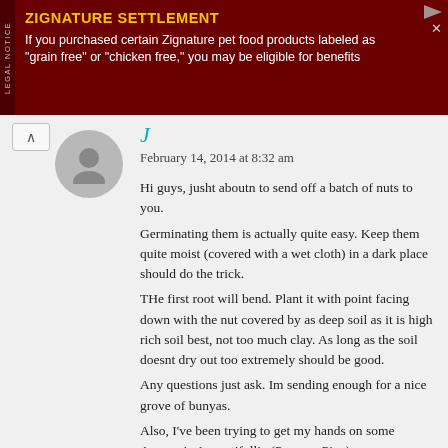[Figure (other): Advertisement banner with dark red background. Heading: 'ZIGNATURE SETTLEMENT' in yellow bold. Body text in white: 'If you purchased certain Zignature pet food products labeled as "grain free" or "chicken free," you may be eligible for benefits'. Left side has vertical 'LEGAL NOTICE' label. Top right has play icon and close button.]
J
February 14, 2014 at 8:32 am
Hi guys, jusht aboutn to send off a batch of nuts to you. Germinating them is actually quite easy. Keep them quite moist (covered with a wet cloth) in a dark place should do the trick. THe first root will bend. Plant it with point facing down with the nut covered by as deep soil as it is high rich soil best, not too much clay. As long as the soil doesnt dry out too extremely should be good. Any questions just ask. Im sending enough for a nice grove of bunyas. Also, I've been trying to get my hands on some Auracaria Angustifollia (Paranya Pine)